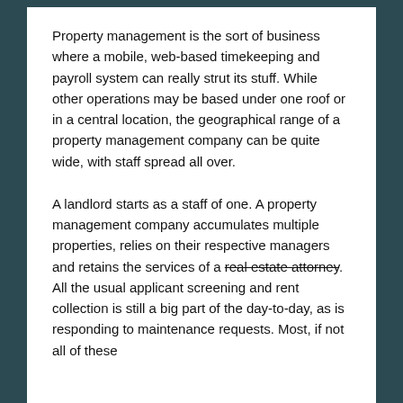Property management is the sort of business where a mobile, web-based timekeeping and payroll system can really strut its stuff. While other operations may be based under one roof or in a central location, the geographical range of a property management company can be quite wide, with staff spread all over.
A landlord starts as a staff of one. A property management company accumulates multiple properties, relies on their respective managers and retains the services of a real estate attorney. All the usual applicant screening and rent collection is still a big part of the day-to-day, as is responding to maintenance requests. Most, if not all of these